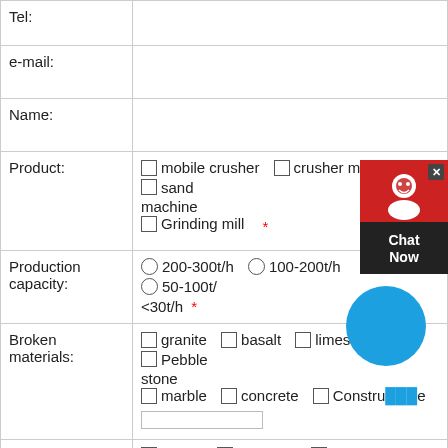| Field | Value |
| --- | --- |
| Tel: |  |
| e-mail: |  |
| Name: |  |
| Product: | ☐ mobile crusher  ☐ crusher machine  ☐ sand machine  ☐ Grinding mill * |
| Production capacity: | ○ 200-300t/h  ○ 100-200t/h  ○ 50-100t/h  ○ <30t/h * |
| Broken materials: | ☐ granite  ☐ basalt  ☐ limestone  ☐ Pebble stone  ☐ marble  ☐ concrete  ☐ Construction waste [input] |
| expected size: | ☐ 0-5мм  ☐ 5-100мм  ☐ 100-300мм  ☐ 300+ |
| expected size: | ☐ 0-5мм  ☐ 5-10мм  ☐ 10-20мм  ☐ 20-40мм |